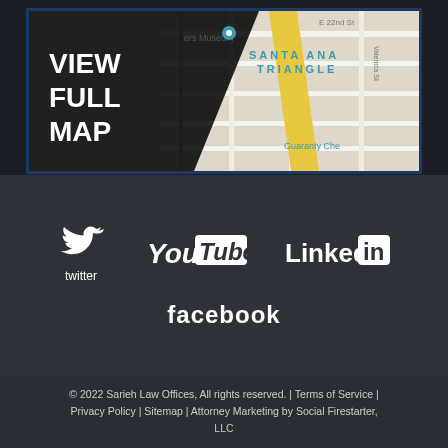[Figure (map): Google Maps screenshot showing Santa Ana Triangle area with a 'VIEW FULL MAP' overlay on the left side in white bold text on dark background]
[Figure (infographic): Social media icons: Twitter bird logo with 'twitter' label, YouTube logo, LinkedIn logo, and Facebook wordmark]
© 2022 Sarieh Law Offices, All rights reserved. | Terms of Service | Privacy Policy | Sitemap | Attorney Marketing by Social Firestarter, LLC